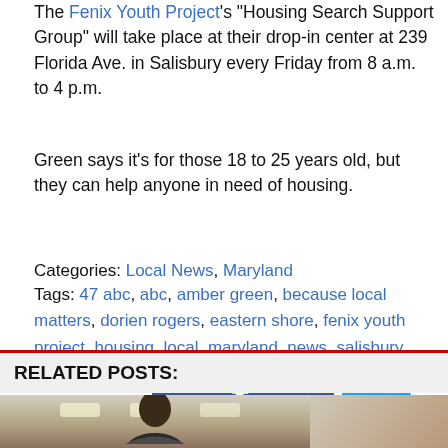The Fenix Youth Project's "Housing Search Support Group" will take place at their drop-in center at 239 Florida Ave. in Salisbury every Friday from 8 a.m. to 4 p.m.
Green says it's for those 18 to 25 years old, but they can help anyone in need of housing.
Categories: Local News, Maryland
Tags: 47 abc, abc, amber green, because local matters, dorien rogers, eastern shore, fenix youth project, housing, local, maryland, news, salisbury, wmdt
[Figure (other): Facebook and Twitter social share buttons]
RELATED POSTS:
[Figure (photo): Photo of a man in a room, related posts section]